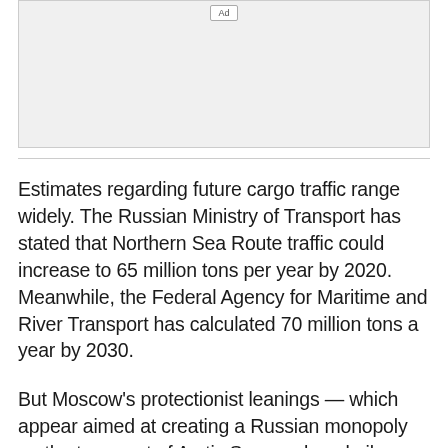[Figure (other): Advertisement placeholder box with 'Ad' label at top center]
Estimates regarding future cargo traffic range widely. The Russian Ministry of Transport has stated that Northern Sea Route traffic could increase to 65 million tons per year by 2020. Meanwhile, the Federal Agency for Maritime and River Transport has calculated 70 million tons a year by 2030.
But Moscow’s protectionist leanings — which appear aimed at creating a Russian monopoly on the transport of Arctic Sea-produced oil